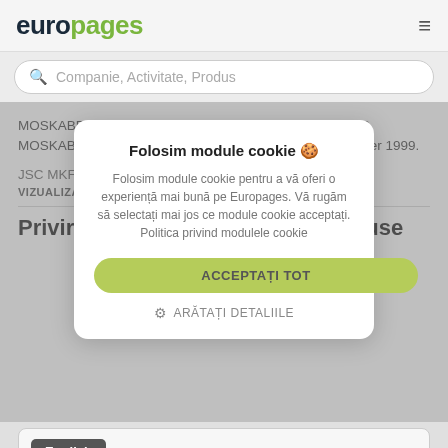[Figure (logo): Europages logo with 'euro' in dark and 'pages' in green]
Companie, Activitate, Produs
MOSKABEL-FUJIKURA (JSC MKF) was founded by CJCS MOSKABELMET jointly with FUJIKURA Ltd 9thof September 1999.
JSC MKF specializes in production of optical cables for ...
VIZUALIZATI MAI MULT
Folosim module cookie 🍪
Folosim module cookie pentru a vă oferi o experiență mai bună pe Europages. Vă rugăm să selectați mai jos ce module cookie acceptați. Politica privind modulele cookie
ACCEPTAȚI TOT
ARĂTAȚI DETALIILE
Privire de ansamblu catalog produse
English